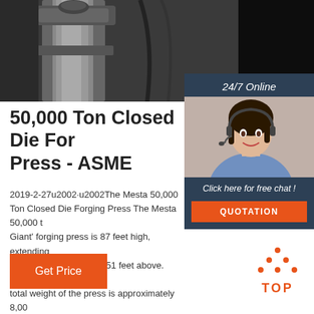[Figure (photo): Industrial forging press machine, close-up of mechanical components, dark metallic equipment]
[Figure (photo): Customer service representative woman with headset smiling, with '24/7 Online' header and 'Click here for free chat!' text and QUOTATION button, on dark blue background sidebar]
50,000 Ton Closed Die Forging Press - ASME
2019-2-27u2002·u2002The Mesta 50,000 Ton Closed Die Forging Press The Mesta 50,000 ton 'Giant' forging press is 87 feet high, extending below ground level and 51 feet above. (Figure total weight of the press is approximately 8,00... That's enough steel to lay 42 miles of modern railroad track. Sixteen huge
[Figure (other): Get Price orange button]
[Figure (other): TOP back-to-top icon with orange dots triangle and TOP text]